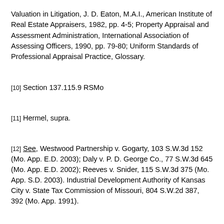Valuation in Litigation, J. D. Eaton, M.A.I., American Institute of Real Estate Appraisers, 1982, pp. 4-5; Property Appraisal and Assessment Administration, International Association of Assessing Officers, 1990, pp. 79-80; Uniform Standards of Professional Appraisal Practice, Glossary.
[10] Section 137.115.9 RSMo
[11] Hermel, supra.
[12] See, Westwood Partnership v. Gogarty, 103 S.W.3d 152 (Mo. App. E.D. 2003); Daly v. P. D. George Co., 77 S.W.3d 645 (Mo. App. E.D. 2002); Reeves v. Snider, 115 S.W.3d 375 (Mo. App. S.D. 2003). Industrial Development Authority of Kansas City v. State Tax Commission of Missouri, 804 S.W.2d 387, 392 (Mo. App. 1991).